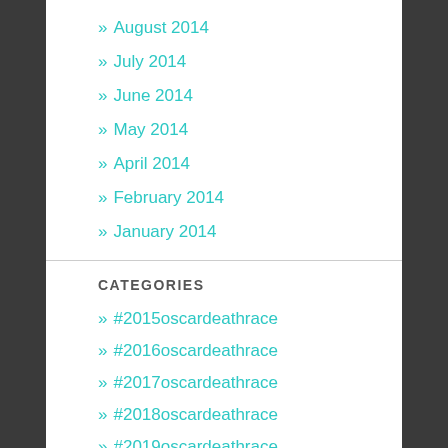» August 2014
» July 2014
» June 2014
» May 2014
» April 2014
» February 2014
» January 2014
CATEGORIES
» #2015oscardeathrace
» #2016oscardeathrace
» #2017oscardeathrace
» #2018oscardeathrace
» #2019oscardeathrace